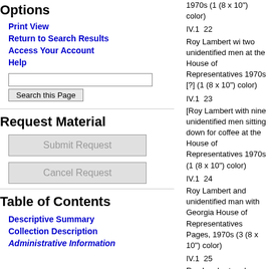Options
Print View
Return to Search Results
Access Your Account
Help
Request Material
Submit Request
Cancel Request
Table of Contents
Descriptive Summary
Collection Description
Administrative Information
IV.1 22 | 1970s (1 (8 x 10") color)
IV.1 23 | Roy Lambert wi two unidentified men at the House of Representatives 1970s [?] (1 (8 x 10") color)
IV.1 24 | [Roy Lambert with nine unidentified men sitting down for coffee at the House of Representatives 1970s (1 (8 x 10") color)
IV.1 25 | Roy Lambert and unidentified man with Georgia House of Representatives Pages, 1970s (3 (8 x 10") color)
Roy Lambert and unidentified men